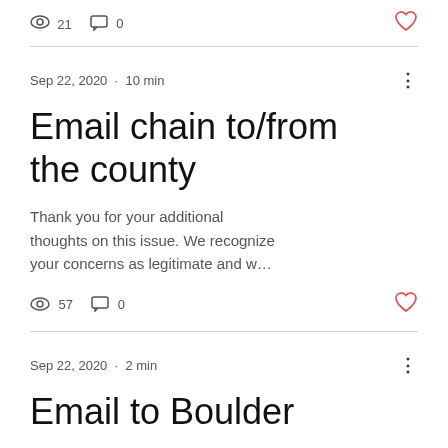21   0
Sep 22, 2020  ·  10 min
Email chain to/from the county
Thank you for your additional thoughts on this issue. We recognize your concerns as legitimate and w…
57   0
Sep 22, 2020  ·  2 min
Email to Boulder